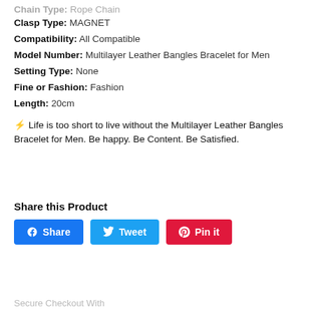Chain Type: Rope Chain
Clasp Type: MAGNET
Compatibility: All Compatible
Model Number: Multilayer Leather Bangles Bracelet for Men
Setting Type: None
Fine or Fashion: Fashion
Length: 20cm
⚡ Life is too short to live without the Multilayer Leather Bangles Bracelet for Men. Be happy. Be Content. Be Satisfied.
Share this Product
Share | Tweet | Pin it
Secure Checkout With